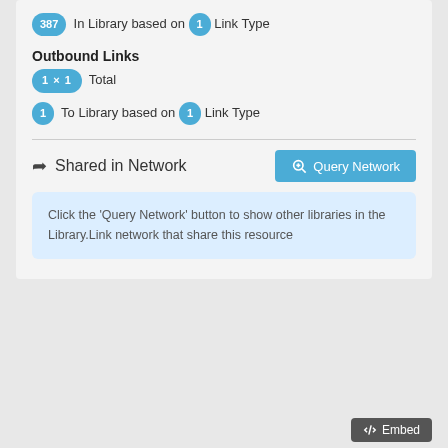387 In Library based on 1 Link Type
Outbound Links
1 x 1 Total
1 To Library based on 1 Link Type
Shared in Network
Query Network
Click the 'Query Network' button to show other libraries in the Library.Link network that share this resource
Embed